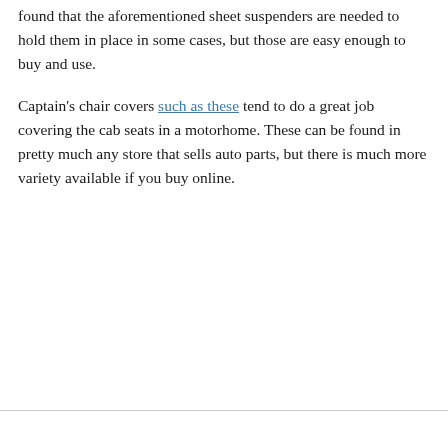found that the aforementioned sheet suspenders are needed to hold them in place in some cases, but those are easy enough to buy and use.
Captain's chair covers such as these tend to do a great job covering the cab seats in a motorhome. These can be found in pretty much any store that sells auto parts, but there is much more variety available if you buy online.